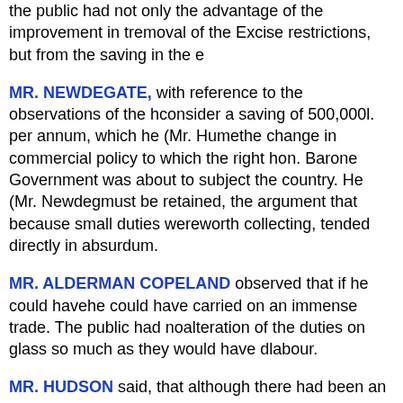the public had not only the advantage of the improvement in the removal of the Excise restrictions, but from the saving in the ex
MR. NEWDEGATE, with reference to the observations of the h consider a saving of 500,000l. per annum, which he (Mr. Hume the change in commercial policy to which the right hon. Barone Government was about to subject the country. He (Mr. Newdeg must be retained, the argument that because small duties were worth collecting, tended directly in absurdum.
MR. ALDERMAN COPELAND observed that if he could have he could have carried on an immense trade. The public had no alteration of the duties on glass so much as they would have d labour.
MR. HUDSON said, that although there had been an increase increase would most probably continue, the question was, whe manufactures, when it had been totally withdrawn from agricu announced his intention to abolish protection on manufactures would expect that if protection were removed from agriculture, country, he repeated, would look for justice in this respect; and protection ought to be taken from manufactures as well as agri